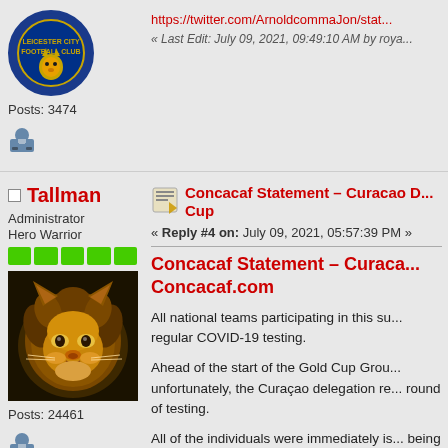https://twitter.com/ArnoldcommaJon/stat...
« Last Edit: July 09, 2021, 09:49:10 AM by roya...
Posts: 3474
Tallman
Administrator
Hero Warrior
Posts: 24461
Concacaf Statement – Curacao D... Cup
« Reply #4 on: July 09, 2021, 05:57:39 PM »
Concacaf Statement – Curaca... Concacaf.com
All national teams participating in this su... regular COVID-19 testing.
Ahead of the start of the Gold Cup Grou... unfortunately, the Curaçao delegation re... round of testing.
All of the individuals were immediately is... being offered the necessary support.